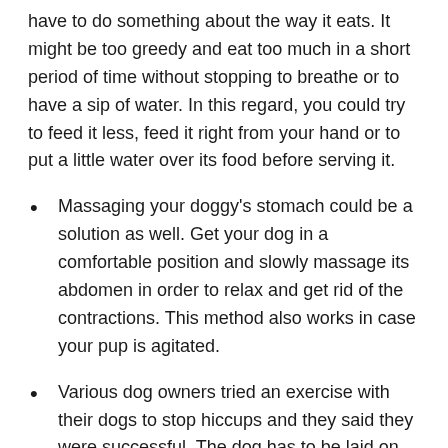have to do something about the way it eats. It might be too greedy and eat too much in a short period of time without stopping to breathe or to have a sip of water. In this regard, you could try to feed it less, feed it right from your hand or to put a little water over its food before serving it.
Massaging your doggy's stomach could be a solution as well. Get your dog in a comfortable position and slowly massage its abdomen in order to relax and get rid of the contractions. This method also works in case your pup is agitated.
Various dog owners tried an exercise with their dogs to stop hiccups and they said they were successful. The dog has to be laid on its back and its owner should keep its front legs up. This exercise should be done for a few minutes.